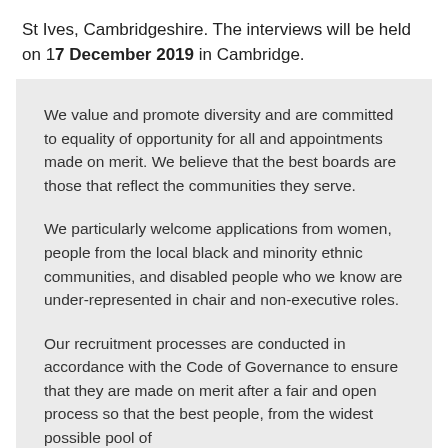St Ives, Cambridgeshire. The interviews will be held on 17 December 2019 in Cambridge.
We value and promote diversity and are committed to equality of opportunity for all and appointments made on merit. We believe that the best boards are those that reflect the communities they serve.
We particularly welcome applications from women, people from the local black and minority ethnic communities, and disabled people who we know are under-represented in chair and non-executive roles.
Our recruitment processes are conducted in accordance with the Code of Governance to ensure that they are made on merit after a fair and open process so that the best people, from the widest possible pool of